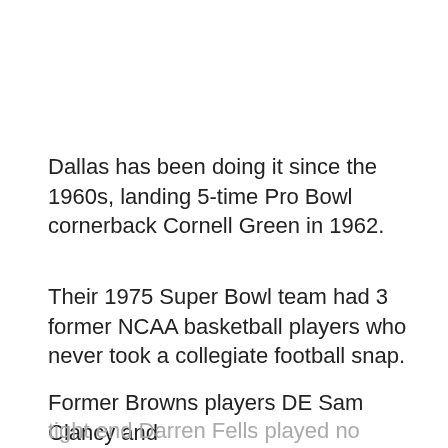Dallas has been doing it since the 1960s, landing 5-time Pro Bowl cornerback Cornell Green in 1962.
Their 1975 Super Bowl team had 3 former NCAA basketball players who never took a collegiate football snap.
Former Browns players DE Sam Clancy and tight end Darren Fells played no college football, either.